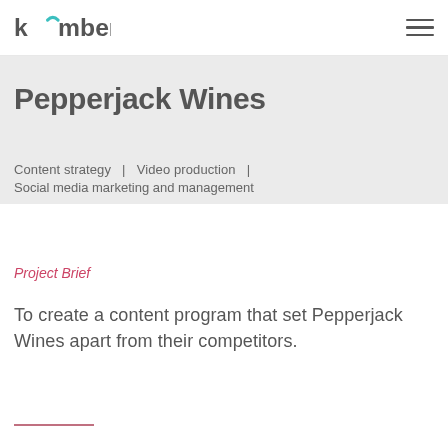kamber
Pepperjack Wines
Content strategy  |  Video production  |  Social media marketing and management
Project Brief
To create a content program that set Pepperjack Wines apart from their competitors.